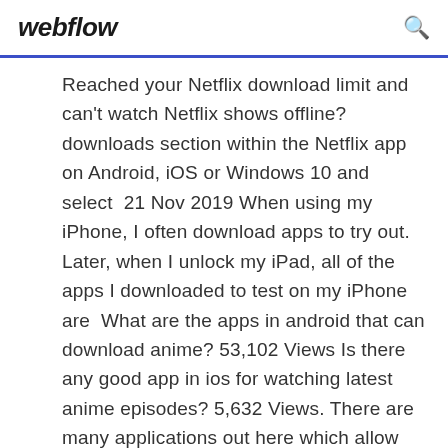webflow
Reached your Netflix download limit and can't watch Netflix shows offline? downloads section within the Netflix app on Android, iOS or Windows 10 and select  21 Nov 2019 When using my iPhone, I often download apps to try out. Later, when I unlock my iPad, all of the apps I downloaded to test on my iPhone are  What are the apps in android that can download anime? 53,102 Views Is there any good app in ios for watching latest anime episodes? 5,632 Views. There are many applications out here which allow you to stream movies and latest television shows on your mobile device. Not all of the applications are  30 Nov 2016 Yes, you can